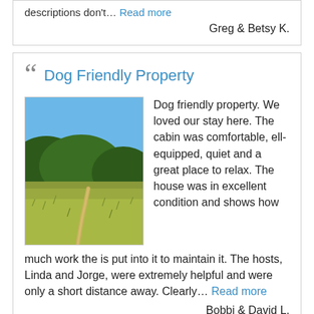descriptions don't… Read more
Greg & Betsy K.
Dog Friendly Property
[Figure (photo): Outdoor landscape photo showing a meadow with tall yellow-green grass and a winding path, with forested hills and a clear blue sky in the background.]
Dog friendly property. We loved our stay here. The cabin was comfortable, ell-equipped, quiet and a great place to relax. The house was in excellent condition and shows how much work the is put into it to maintain it. The hosts, Linda and Jorge, were extremely helpful and were only a short distance away. Clearly… Read more
Bobbi & David L.